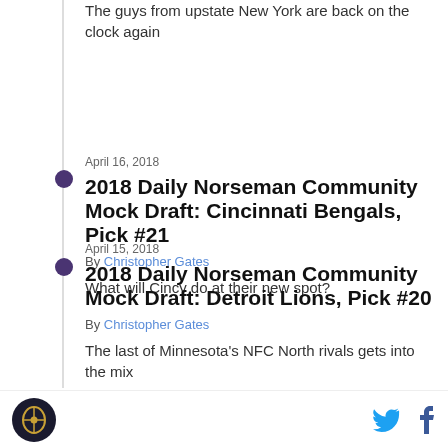The guys from upstate New York are back on the clock again
April 16, 2018
2018 Daily Norseman Community Mock Draft: Cincinnati Bengals, Pick #21
By Christopher Gates
What will Cincy do at their new spot?
April 15, 2018
2018 Daily Norseman Community Mock Draft: Detroit Lions, Pick #20
By Christopher Gates
The last of Minnesota's NFC North rivals gets into the mix